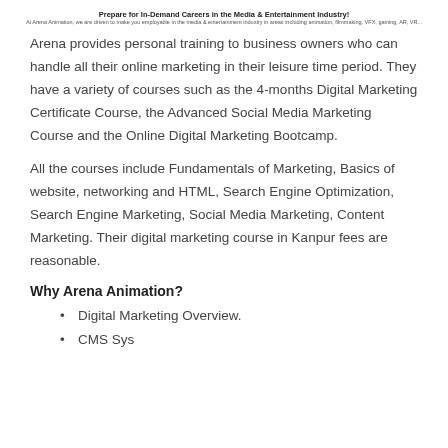Prepare for In-Demand Careers in the Media & Entertainment Industry!
At Arena Animation, we are driven to make you employable in the media & entertainment industry in areas including animation, filmmaking, VFX, gaming, AR, VR...
Arena provides personal training to business owners who can handle all their online marketing in their leisure time period. They have a variety of courses such as the 4-months Digital Marketing Certificate Course, the Advanced Social Media Marketing Course and the Online Digital Marketing Bootcamp.
All the courses include Fundamentals of Marketing, Basics of website, networking and HTML, Search Engine Optimization, Search Engine Marketing, Social Media Marketing, Content Marketing. Their digital marketing course in Kanpur fees are reasonable.
Why Arena Animation?
Digital Marketing Overview.
CMS Systems...